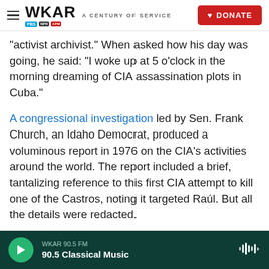WKAR A CENTURY OF SERVICE | DONATE
"activist archivist." When asked how his day was going, he said: "I woke up at 5 o'clock in the morning dreaming of CIA assassination plots in Cuba."
A congressional investigation led by Sen. Frank Church, an Idaho Democrat, produced a voluminous report in 1976 on the CIA's activities around the world. The report included a brief, tantalizing reference to this first CIA attempt to kill one of the Castros, noting it targeted Raúl. But all the details were redacted.
It turns out that Murray, the CIA officer in Havana,
WKAR 90.5 FM | 90.5 Classical Music